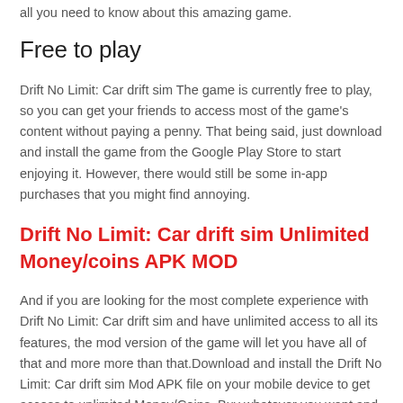all you need to know about this amazing game.
Free to play
Drift No Limit: Car drift sim The game is currently free to play, so you can get your friends to access most of the game's content without paying a penny. That being said, just download and install the game from the Google Play Store to start enjoying it. However, there would still be some in-app purchases that you might find annoying.
Drift No Limit: Car drift sim Unlimited Money/coins APK MOD
And if you are looking for the most complete experience with Drift No Limit: Car drift sim and have unlimited access to all its features, the mod version of the game will let you have all of that and more more than that.Download and install the Drift No Limit: Car drift sim Mod APK file on your mobile device to get access to unlimited Money/Coins. Buy whatever you want and run in styles.
What's new